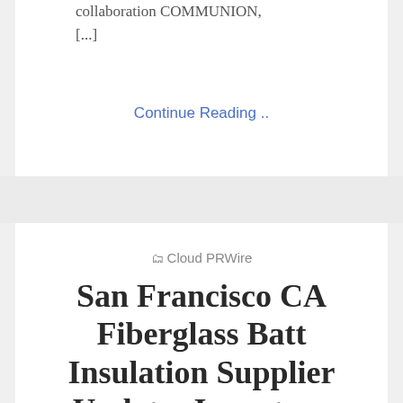collaboration COMMUNION, [...]
Continue Reading ..
Cloud PRWire
San Francisco CA Fiberglass Batt Insulation Supplier Updates Inventory